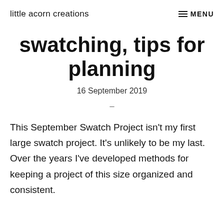little acorn creations
swatching, tips for planning
16 September 2019
–
This September Swatch Project isn't my first large swatch project. It's unlikely to be my last. Over the years I've developed methods for keeping a project of this size organized and consistent.